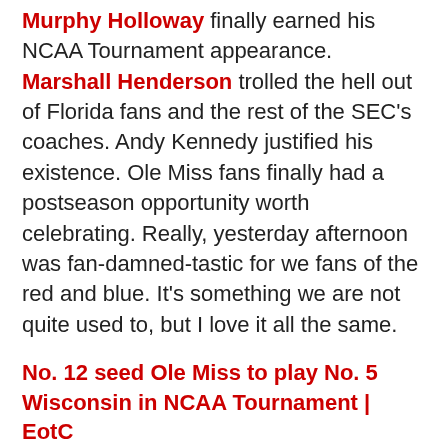Murphy Holloway finally earned his NCAA Tournament appearance. Marshall Henderson trolled the hell out of Florida fans and the rest of the SEC's coaches. Andy Kennedy justified his existence. Ole Miss fans finally had a postseason opportunity worth celebrating. Really, yesterday afternoon was fan-damned-tastic for we fans of the red and blue. It's something we are not quite used to, but I love it all the same.
No. 12 seed Ole Miss to play No. 5 Wisconsin in NCAA Tournament | EotC
We have a hell of a test on our hands in this opening round, as we play against No. 5 seed Wisconsin in Kansas City. The Badgers are ranked in the top-25, and made it to the B1G tournament championship game yesterday where they lost to the Ohio State